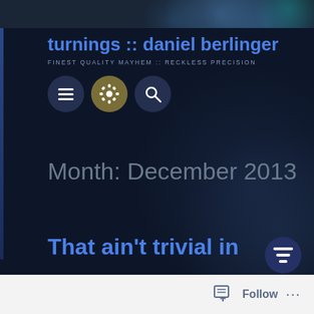[Figure (screenshot): Website header screenshot of 'turnings :: daniel berlinger' blog with dark navy background, bokeh city lights in the background photo strip at top, navigation icons (menu, gear, search), month archive heading 'Month: December 2013', partial post title 'That ain’t trivial in', and a WordPress footer bar with Follow button.]
turnings :: daniel berlinger
FINEST QUALITY MAYHEM :: RECKLESS PRECISION
Month: December 2013
That ain’t trivial in
Follow ...